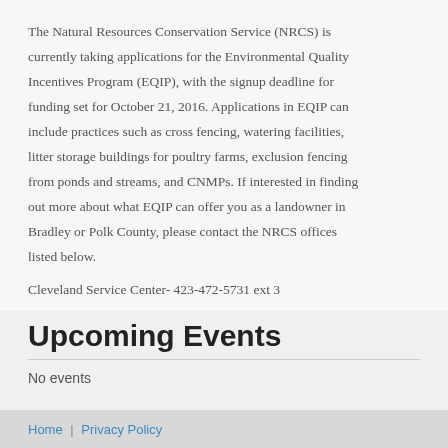The Natural Resources Conservation Service (NRCS) is currently taking applications for the Environmental Quality Incentives Program (EQIP), with the signup deadline for funding set for October 21, 2016. Applications in EQIP can include practices such as cross fencing, watering facilities, litter storage buildings for poultry farms, exclusion fencing from ponds and streams, and CNMPs. If interested in finding out more about what EQIP can offer you as a landowner in Bradley or Polk County, please contact the NRCS offices listed below.
Cleveland Service Center- 423-472-5731 ext 3
Polk County Soil Conservation District Office- 423- 338-4555
Upcoming Events
No events
Home | Privacy Policy